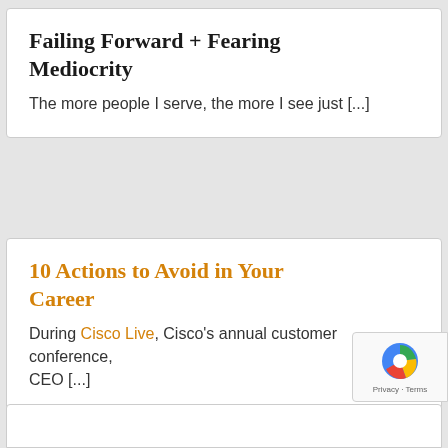Failing Forward + Fearing Mediocrity
The more people I serve, the more I see just [...]
10 Actions to Avoid in Your Career
During Cisco Live, Cisco's annual customer conference, CEO [...]